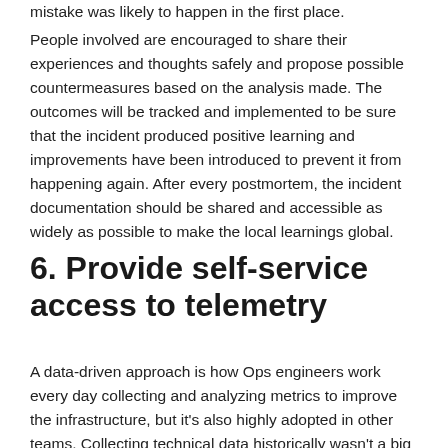mistake was likely to happen in the first place.
People involved are encouraged to share their experiences and thoughts safely and propose possible countermeasures based on the analysis made. The outcomes will be tracked and implemented to be sure that the incident produced positive learning and improvements have been introduced to prevent it from happening again. After every postmortem, the incident documentation should be shared and accessible as widely as possible to make the local learnings global.
6. Provide self-service access to telemetry
A data-driven approach is how Ops engineers work every day collecting and analyzing metrics to improve the infrastructure, but it's also highly adopted in other teams. Collecting technical data historically wasn't a big deal for